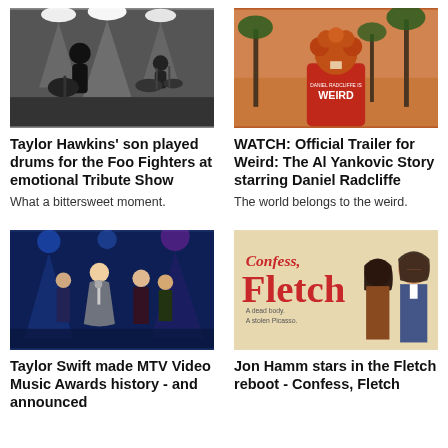[Figure (photo): Black and white photo of a rock concert, guitarist and drummer on stage with bright overhead lights]
Taylor Hawkins' son played drums for the Foo Fighters at emotional Tribute Show
What a bittersweet moment.
[Figure (photo): Movie poster for Weird: The Al Yankovic Story — person with curly red hair seen from behind wearing a red jacket that says WEIRD, with palm trees and warm sky]
WATCH: Official Trailer for Weird: The Al Yankovic Story starring Daniel Radcliffe
The world belongs to the weird.
[Figure (photo): Taylor Swift and bandmates on stage at the MTV VMAs, blue stage lighting, holding microphones, wearing sparkly outfits]
Taylor Swift made MTV Video Music Awards history - and announced
[Figure (photo): Movie poster for Confess, Fletch — title in retro red lettering with two serious-looking actors (a woman and Jon Hamm) on a beige background, tagline: A dead body. A stolen Picasso.]
Jon Hamm stars in the Fletch reboot - Confess, Fletch